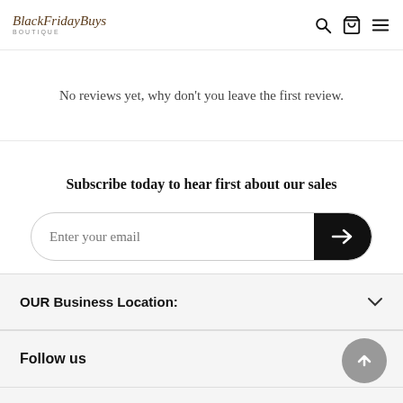BlackFridayBuys Boutique
No reviews yet, why don't you leave the first review.
Subscribe today to hear first about our sales
Enter your email
OUR Business Location:
Follow us